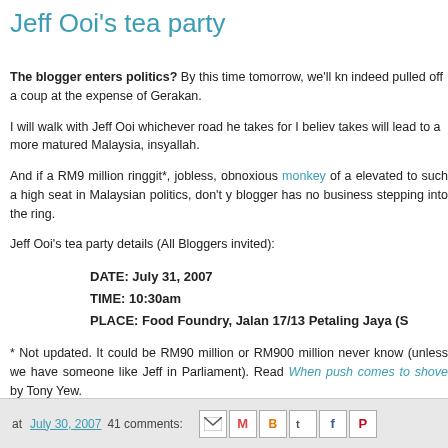Jeff Ooi's tea party
The blogger enters politics? By this time tomorrow, we'll kn indeed pulled off a coup at the expense of Gerakan.
I will walk with Jeff Ooi whichever road he takes for I believ takes will lead to a more matured Malaysia, insyallah.
And if a RM9 million ringgit*, jobless, obnoxious monkey of a elevated to such a high seat in Malaysian politics, don't y blogger has no business stepping into the ring.
Jeff Ooi's tea party details (All Bloggers invited):
DATE: July 31, 2007
TIME: 10:30am
PLACE: Food Foundry, Jalan 17/13 Petaling Jaya (S
* Not updated. It could be RM90 million or RM900 million never know (unless we have someone like Jeff in Parliament). Read When push comes to shove by Tony Yew.
at July 30, 2007   41 comments: